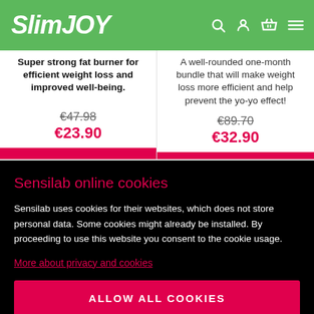SlimJOY
Super strong fat burner for efficient weight loss and improved well-being.
A well-rounded one-month bundle that will make weight loss more efficient and help prevent the yo-yo effect!
€47.98
€23.90
€89.70
€32.90
Sensilab online cookies
Sensilab uses cookies for their websites, which does not store personal data. Some cookies might already be installed. By proceeding to use this website you consent to the cookie usage.
More about privacy and cookies
ALLOW ALL COOKIES